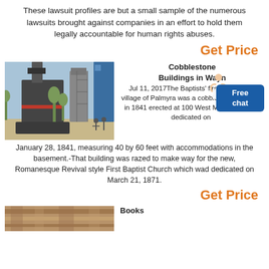These lawsuit profiles are but a small sample of the numerous lawsuits brought against companies in an effort to hold them legally accountable for human rights abuses.
Get Price
[Figure (photo): Industrial milling or processing machine equipment outdoors with silos and blue sky background]
Cobblestone Buildings in Wayn
Jul 11, 2017The Baptists' first ch... in the village of Palmyra was a cobblestone building in 1841 erected at 100 West Main St. It was dedicated on January 28, 1841, measuring 40 by 60 feet with accommodations in the basement.-That building was razed to make way for the new, Romanesque Revival style First Baptist Church which wad dedicated on March 21, 1871.
Get Price
[Figure (photo): Partial view of a stone or cobblestone structure/ground]
Books